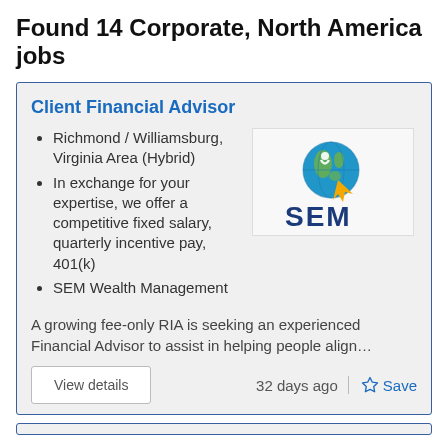Found 14 Corporate, North America jobs
Client Financial Advisor
Richmond / Williamsburg, Virginia Area (Hybrid)
In exchange for your expertise, we offer a competitive fixed salary, quarterly incentive pay, 401(k)
SEM Wealth Management
[Figure (logo): SEM Wealth Management logo: globe icon with cursor and bold SEM text below]
A growing fee-only RIA is seeking an experienced Financial Advisor to assist in helping people align…
View details
32 days ago
Save